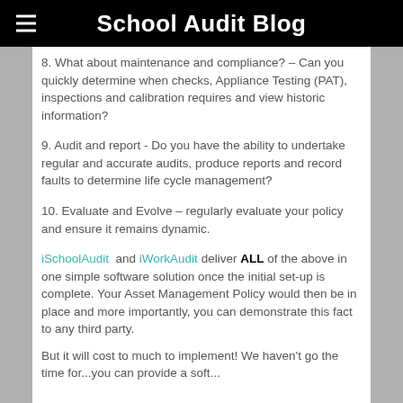School Audit Blog
8. What about maintenance and compliance? – Can you quickly determine when checks, Appliance Testing (PAT), inspections and calibration requires and view historic information?
9. Audit and report - Do you have the ability to undertake regular and accurate audits, produce reports and record faults to determine life cycle management?
10. Evaluate and Evolve – regularly evaluate your policy and ensure it remains dynamic.
iSchoolAudit and iWorkAudit deliver ALL of the above in one simple software solution once the initial set-up is complete. Your Asset Management Policy would then be in place and more importantly, you can demonstrate this fact to any third party.
But it will cost to much to implement! We haven't go the time for...you can provide a software...